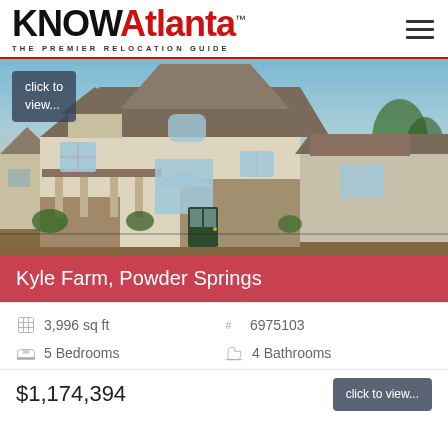KNOW Atlanta — THE PREMIER RELOCATION GUIDE
[Figure (photo): Exterior photo of a two-story home with stone and stucco facade, covered porch, arched windows, and blue sky background. Located at Kyle Farm, Powder Springs.]
Kyle Farm, Powder Springs
3,996 sq ft   #  6975103   5 Bedrooms   4 Bathrooms
$1,174,394